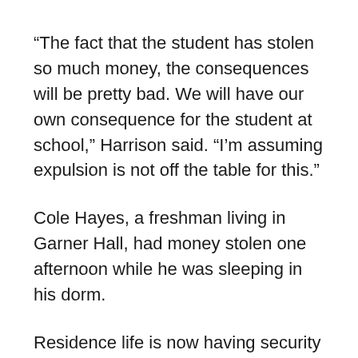“The fact that the student has stolen so much money, the consequences will be pretty bad. We will have our own consequence for the student at school,” Harrison said. “I’m assuming expulsion is not off the table for this.”
Cole Hayes, a freshman living in Garner Hall, had money stolen one afternoon while he was sleeping in his dorm.
Residence life is now having security patrol the freshman dorms with more caution. Security and residence life are pairing up to secure the dorms with “directed patrols”, where a security officer meets with an RD or RA on duty to watch the halls a little closer.
“It’s a freshman dorm thing. It’s just something you just got to reinforce to the residents to lock your dorms,